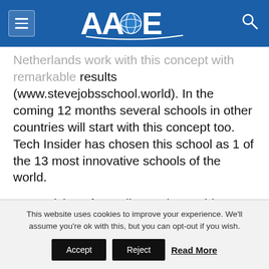AACE
Netherlands work with this concept with remarkable results (www.stevejobsschool.world). In the coming 12 months several schools in other countries will start with this concept too. Tech Insider has chosen this school as 1 of the 13 most innovative schools of the world.
Many visitors from all over the world are visiting the schools in the Netherlands and De Hond is asked by many congresses all over the world to give keynote speeches and workshops about his school and his
This website uses cookies to improve your experience. We'll assume you're ok with this, but you can opt-out if you wish.